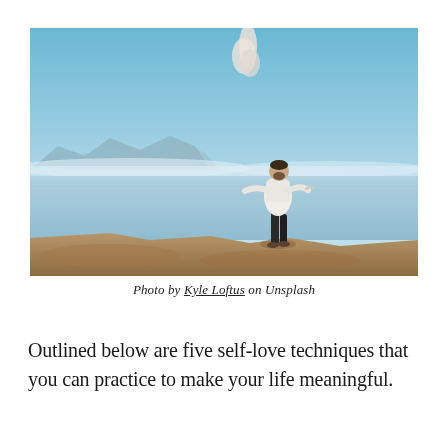[Figure (photo): A man standing on a rocky cliff edge with arms outstretched, looking up toward the sky. A misty lake and mountain range are visible in the background under a clear blue sky. A small cloud is visible above the man.]
Photo by Kyle Loftus on Unsplash
Outlined below are five self-love techniques that you can practice to make your life meaningful.